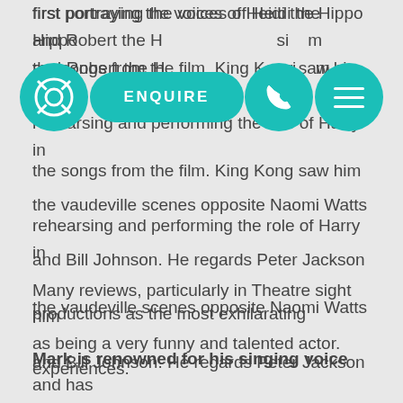first portraying the voices of Heidi the Hippo and Robert the H... singing some the songs from the film. King Kong saw him rehearsing and performing the role of Harry in the vaudeville scenes opposite Naomi Watts and Bill Johnson. He regards Peter Jackson productions as the most exhilarating experiences.
[Figure (screenshot): Navigation UI overlay with teal lifesaver circle icon, teal ENQUIRE pill button, teal phone circle icon, and teal menu circle icon]
Many reviews, particularly in Theatre sight him as being a very funny and talented actor.
Mark is renowned for his singing voice and has appeared in many musicals and concerts, his all time favourite being Little Shop of Horrors.